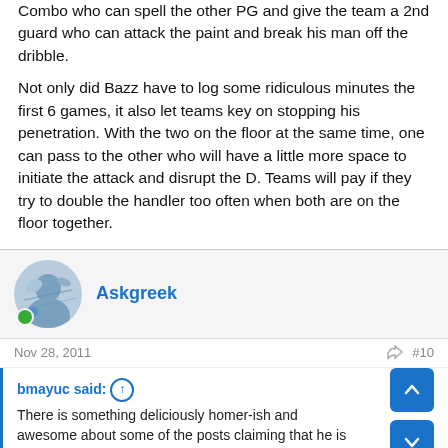Combo who can spell the other PG and give the team a 2nd guard who can attack the paint and break his man off the dribble.
Not only did Bazz have to log some ridiculous minutes the first 6 games, it also let teams key on stopping his penetration. With the two on the floor at the same time, one can pass to the other who will have a little more space to initiate the attack and disrupt the D. Teams will pay if they try to double the handler too often when both are on the floor together.
Askgreek
Nov 28, 2011
#10
bmayuc said: ↑
There is something deliciously homer-ish and awesome about some of the posts claiming that he is reminiscent of Iverson, one of the premier players/athletes/icons in the past 20 years, after one game. This post even posits that Bost will have better PG skills, specifically